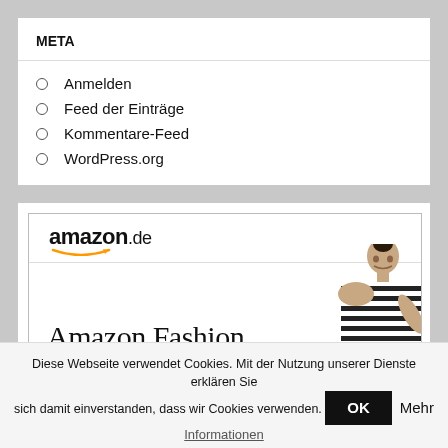META
Anmelden
Feed der Einträge
Kommentare-Feed
WordPress.org
[Figure (illustration): Amazon.de Amazon Fashion advertisement banner with logo and model wearing striped top]
Diese Webseite verwendet Cookies. Mit der Nutzung unserer Dienste erklären Sie sich damit einverstanden, dass wir Cookies verwenden. OK Mehr
Informationen